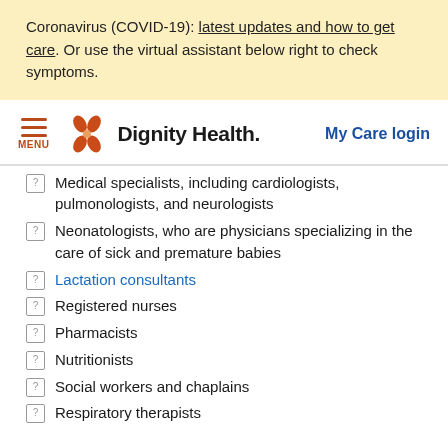Coronavirus (COVID-19): latest updates and how to get care. Or use the virtual assistant below right to check symptoms.
[Figure (logo): Dignity Health logo with stylized butterfly/flower icon and hamburger menu. 'My Care login' link on the right.]
Medical specialists, including cardiologists, pulmonologists, and neurologists
Neonatologists, who are physicians specializing in the care of sick and premature babies
Lactation consultants
Registered nurses
Pharmacists
Nutritionists
Social workers and chaplains
Respiratory therapists